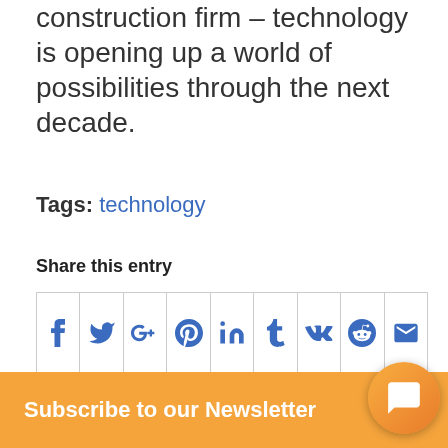construction firm – technology is opening up a world of possibilities through the next decade.
Tags: technology
Share this entry
[Figure (other): Row of social media share icons: Facebook, Twitter, Google+, Pinterest, LinkedIn, Tumblr, VK, Reddit, Email]
Subscribe to our Newsletter